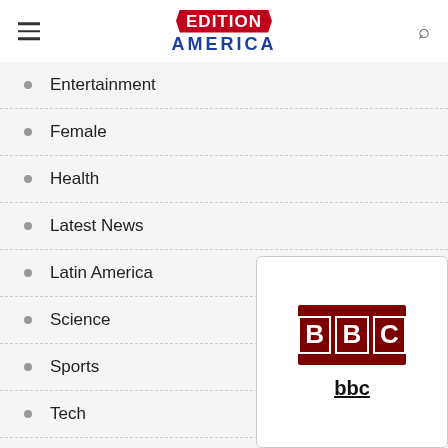EDITION AMERICA
Entertainment
Female
Health
Latest News
Latin America
Science
Sports
Tech
Tourism
Travel
Uncategorized
[Figure (logo): BBC logo card with dark red background showing B B C letters in white boxes, and 'bbc' text underlined below]